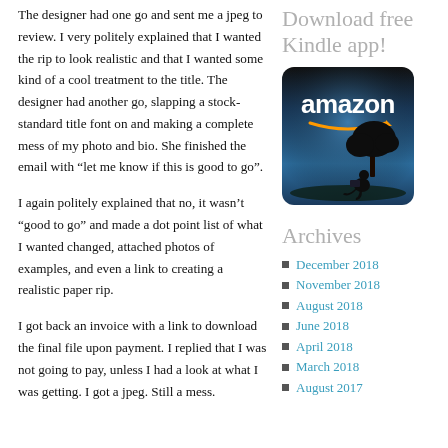The designer had one go and sent me a jpeg to review. I very politely explained that I wanted the rip to look realistic and that I wanted some kind of a cool treatment to the title. The designer had another go, slapping a stock-standard title font on and making a complete mess of my photo and bio. She finished the email with “let me know if this is good to go”.
I again politely explained that no, it wasn’t “good to go” and made a dot point list of what I wanted changed, attached photos of examples, and even a link to creating a realistic paper rip.
I got back an invoice with a link to download the final file upon payment. I replied that I was not going to pay, unless I had a look at what I was getting. I got a jpeg. Still a mess.
Download free Kindle app!
[Figure (photo): Amazon Kindle app promotional image showing the Amazon logo with orange smile arrow on a dark background, with a silhouette of a person reading under a tree against a blue sky.]
Archives
December 2018
November 2018
August 2018
June 2018
April 2018
March 2018
August 2017